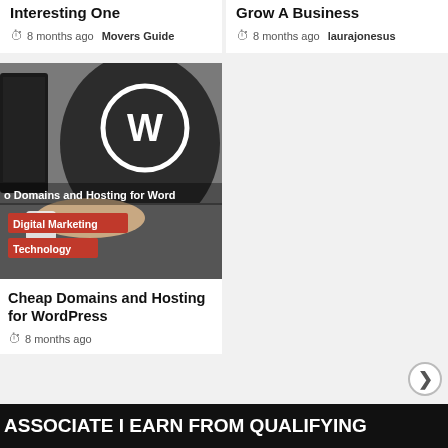Interesting One
8 months ago  Movers Guide
Grow A Business
8 months ago  laurajonesus
[Figure (photo): Person wearing a WordPress t-shirt working at a computer desk, with text overlay 'Domains and Hosting for Word'. Tags: Digital Marketing, Technology.]
Cheap Domains and Hosting for WordPress
8 months ago
ASSOCIATE I EARN FROM QUALIFYING